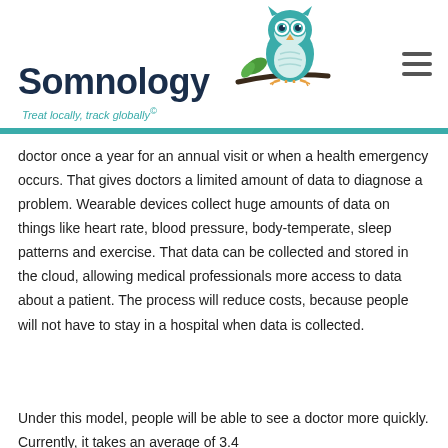Somnology — Treat locally, track globally®
doctor once a year for an annual visit or when a health emergency occurs. That gives doctors a limited amount of data to diagnose a problem. Wearable devices collect huge amounts of data on things like heart rate, blood pressure, body-temperate, sleep patterns and exercise. That data can be collected and stored in the cloud, allowing medical professionals more access to data about a patient. The process will reduce costs, because people will not have to stay in a hospital when data is collected.
Under this model, people will be able to see a doctor more quickly. Currently, it takes an average of 3.4